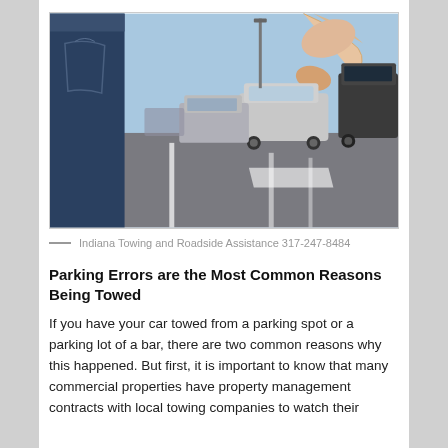[Figure (photo): Person holding car keys dangling in a parking lot with cars in the background, blue jeans visible on the left side.]
— Indiana Towing and Roadside Assistance 317-247-8484
Parking Errors are the Most Common Reasons Being Towed
If you have your car towed from a parking spot or a parking lot of a bar, there are two common reasons why this happened. But first, it is important to know that many commercial properties have property management contracts with local towing companies to watch their